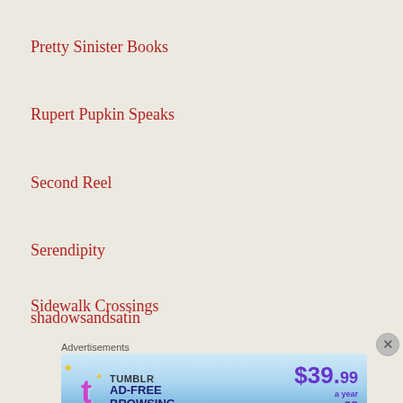Pretty Sinister Books
Rupert Pupkin Speaks
Second Reel
Serendipity
shadowsandsatin
Sidewalk Crossings
Advertisements
[Figure (other): Tumblr Ad-Free Browsing advertisement banner showing $39.99 a year or $4.99 a month pricing]